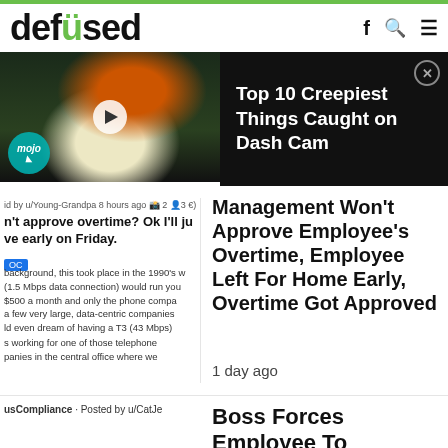[Figure (logo): Defused website logo with green dot on the letter i]
[Figure (screenshot): Video banner: clown on a road at night on left, black panel on right with title 'Top 10 Creepiest Things Caught on Dash Cam' and close button]
id by u/Young-Grandpa 8 hours ago 2 3
n't approve overtime? Ok I'll ju leave early on Friday.
background, this took place in the 1990's w (1.5 Mbps data connection) would run you $500 a month and only the phone compa a few very large, data-centric companies ld even dream of having a T3 (43 Mbps)
s working for one of those telephone panies in the central office where we
Management Won't Approve Employee's Overtime, Employee Left For Home Early, Overtime Got Approved
1 day ago
usCompliance · Posted by u/CatJe
Boss Forces Employee To